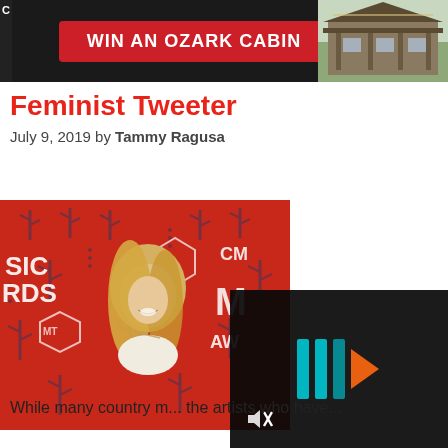[Figure (photo): Advertisement banner: dark background with red button saying WIN AN OZARK CABIN and a cabin photo on the right]
Feminist Tweeter
July 9, 2019 by Tammy Ragusa
[Figure (photo): Young blonde woman smiling at CMT Music Awards red carpet with cactus pattern background]
[Figure (other): Video player overlay with teal play button icon and mute icon on dark background]
While many country m... the artists who have...